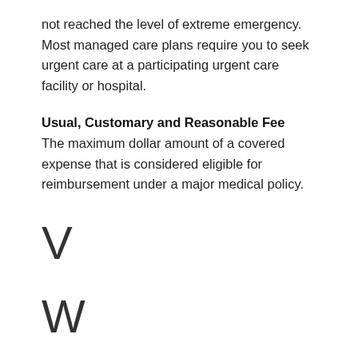not reached the level of extreme emergency. Most managed care plans require you to seek urgent care at a participating urgent care facility or hospital.
Usual, Customary and Reasonable Fee
The maximum dollar amount of a covered expense that is considered eligible for reimbursement under a major medical policy.
V
W